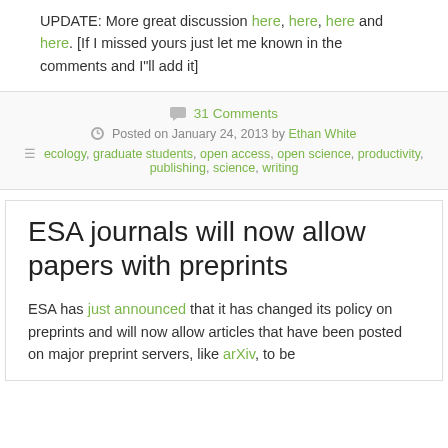UPDATE: More great discussion here, here, here and here. [If I missed yours just let me known in the comments and I"ll add it]
💬 31 Comments
⏱ Posted on January 24, 2013 by Ethan White
≡ ecology, graduate students, open access, open science, productivity, publishing, science, writing
ESA journals will now allow papers with preprints
ESA has just announced that it has changed its policy on preprints and will now allow articles that have been posted on major preprint servers, like arXiv, to be considered for publication in one of